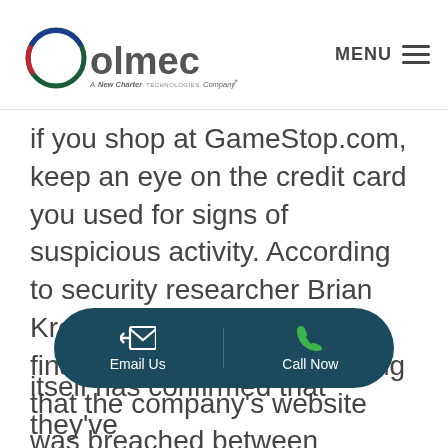olmec — A New Charter Technologies Company | MENU
if you shop at GameStop.com, keep an eye on the credit card you used for signs of suspicious activity. According to security researcher Brian Krebs, sources inside the financial industry are reporting that the company's website was breached between
[Figure (other): Dark teal pill-shaped CTA bar with Email Us (envelope icon) and Call Now (phone icon) buttons]
itself has confirmed that they've